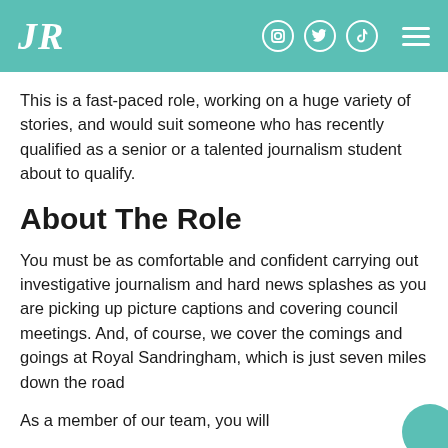JR
This is a fast-paced role, working on a huge variety of stories, and would suit someone who has recently qualified as a senior or a talented journalism student about to qualify.
About The Role
You must be as comfortable and confident carrying out investigative journalism and hard news splashes as you are picking up picture captions and covering council meetings. And, of course, we cover the comings and goings at Royal Sandringham, which is just seven miles down the road
As a member of our team, you will